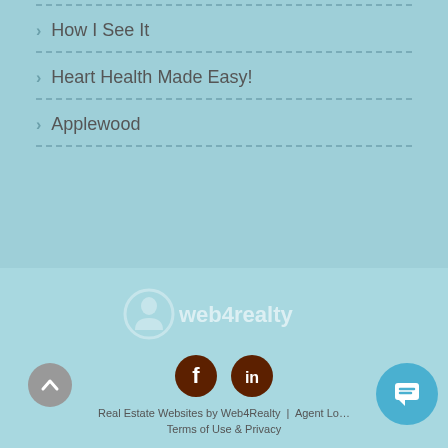How I See It
Heart Health Made Easy!
Applewood
[Figure (logo): web4realty logo with stylized house/person icon]
[Figure (other): Social media icons: Facebook and LinkedIn, dark brown circles]
Real Estate Websites by Web4Realty | Agent Lo…
Terms of Use & Privacy